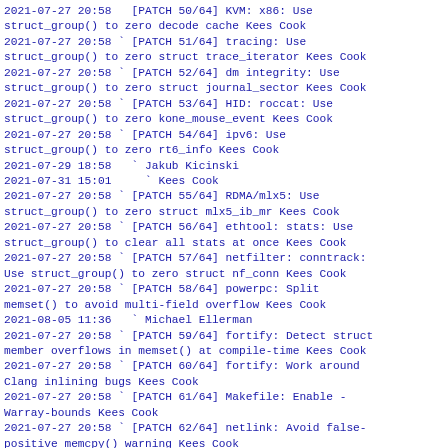2021-07-27 20:58   [PATCH 50/64] KVM: x86: Use struct_group() to zero decode cache Kees Cook
2021-07-27 20:58 ` [PATCH 51/64] tracing: Use struct_group() to zero struct trace_iterator Kees Cook
2021-07-27 20:58 ` [PATCH 52/64] dm integrity: Use struct_group() to zero struct journal_sector Kees Cook
2021-07-27 20:58 ` [PATCH 53/64] HID: roccat: Use struct_group() to zero kone_mouse_event Kees Cook
2021-07-27 20:58 ` [PATCH 54/64] ipv6: Use struct_group() to zero rt6_info Kees Cook
2021-07-29 18:58   ` Jakub Kicinski
2021-07-31 15:01     ` Kees Cook
2021-07-27 20:58 ` [PATCH 55/64] RDMA/mlx5: Use struct_group() to zero struct mlx5_ib_mr Kees Cook
2021-07-27 20:58 ` [PATCH 56/64] ethtool: stats: Use struct_group() to clear all stats at once Kees Cook
2021-07-27 20:58 ` [PATCH 57/64] netfilter: conntrack: Use struct_group() to zero struct nf_conn Kees Cook
2021-07-27 20:58 ` [PATCH 58/64] powerpc: Split memset() to avoid multi-field overflow Kees Cook
2021-08-05 11:36   ` Michael Ellerman
2021-07-27 20:58 ` [PATCH 59/64] fortify: Detect struct member overflows in memset() at compile-time Kees Cook
2021-07-27 20:58 ` [PATCH 60/64] fortify: Work around Clang inlining bugs Kees Cook
2021-07-27 20:58 ` [PATCH 61/64] Makefile: Enable -Warray-bounds Kees Cook
2021-07-27 20:58 ` [PATCH 62/64] netlink: Avoid false-positive memcpy() warning Kees Cook
2021-07-28  5:49   ` Greg Kroah-Hartman